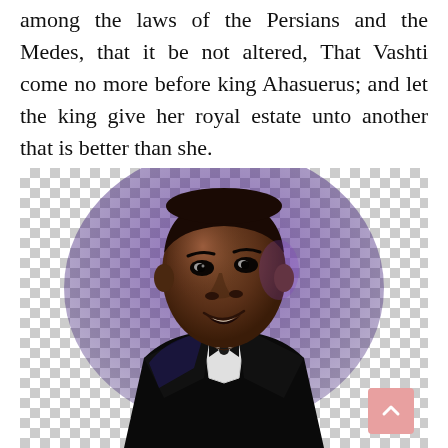among the laws of the Persians and the Medes, that it be not altered, That Vashti come no more before king Ahasuerus; and let the king give her royal estate unto another that is better than she.
[Figure (photo): A man in a black tuxedo with bow tie, photographed against a transparent (checkerboard) background with purple lighting. He appears to be looking slightly upward and to the side.]